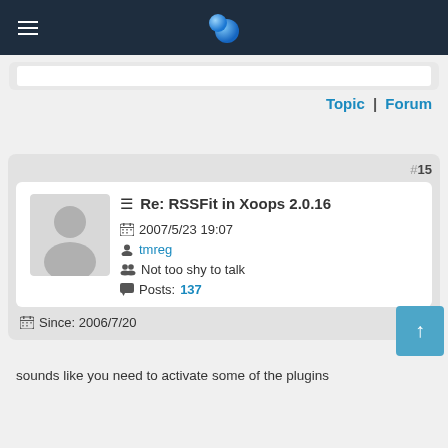Navigation bar with hamburger menu and logo
Topic | Forum
#15
☰ Re: RSSFit in Xoops 2.0.16
2007/5/23 19:07
tmreg
Not too shy to talk
Posts: 137
Since: 2006/7/20
sounds like you need to activate some of the plugins